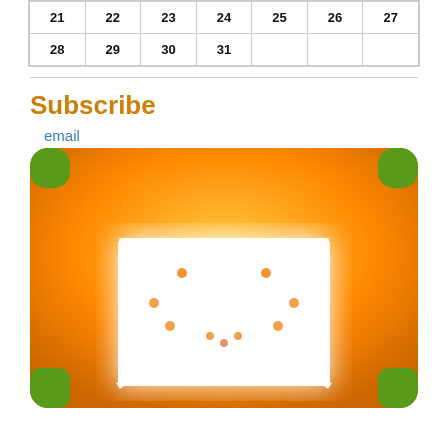| 21 | 22 | 23 | 24 | 25 | 26 | 27 |
| 28 | 29 | 30 | 31 |  |  |  |
Subscribe
email
[Figure (illustration): Orange email/envelope icon button with white envelope graphic, green corner accents, blurred glow effect]